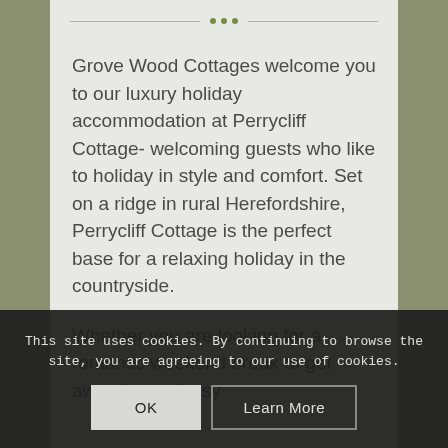Grove Wood Cottages welcome you to our luxury holiday accommodation at Perrycliff Cottage- welcoming guests who like to holiday in style and comfort. Set on a ridge in rural Herefordshire, Perrycliff Cottage is the perfect base for a relaxing holiday in the countryside.
Whether you are looking for a romantic weekend break to get away from a busy ... packed ... for all ages; or ... for walkers and cyclists to explore the Forest of Dean,
This site uses cookies. By continuing to browse the site, you are agreeing to our use of cookies.